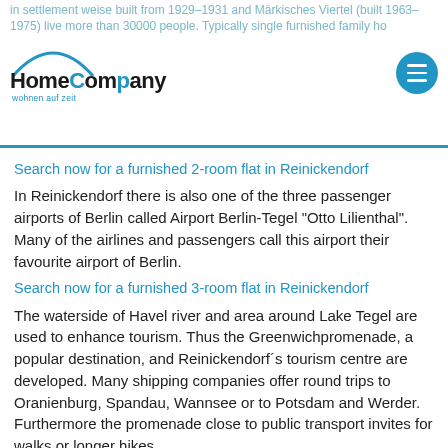in settlement weise built from 1929–1931 and Märkisches Viertel (built 1963–1975) live more than 30000 people. Typically single furnished family ho...
Search now for a furnished 2-room flat in Reinickendorf
In Reinickendorf there is also one of the three passenger airports of Berlin called Airport Berlin-Tegel "Otto Lilienthal". Many of the airlines and passengers call this airport their favourite airport of Berlin.
Search now for a furnished 3-room flat in Reinickendorf
The waterside of Havel river and area around Lake Tegel are used to enhance tourism. Thus the Greenwichpromenade, a popular destination, and Reinickendorf´s tourism centre are developed. Many shipping companies offer round trips to Oranienburg, Spandau, Wannsee or to Potsdam and Werder. Furthermore the promenade close to public transport invites for walks or longer hikes.
Search now for a furnished 4-room flat in Reinickendorf
Search now for a furnished house in Reinickendorf